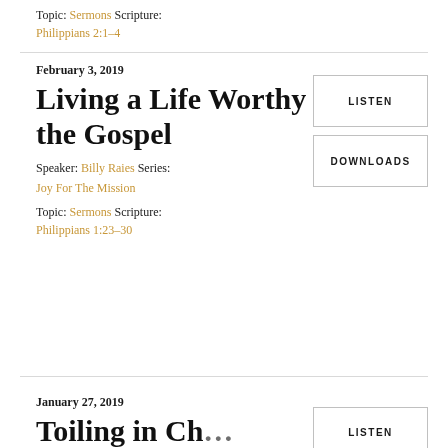Topic: Sermons Scripture:
Philippians 2:1–4
February 3, 2019
Living a Life Worthy of the Gospel
Speaker: Billy Raies Series:
Joy For The Mission
Topic: Sermons Scripture:
Philippians 1:23–30
January 27, 2019
Toiling in Ch...